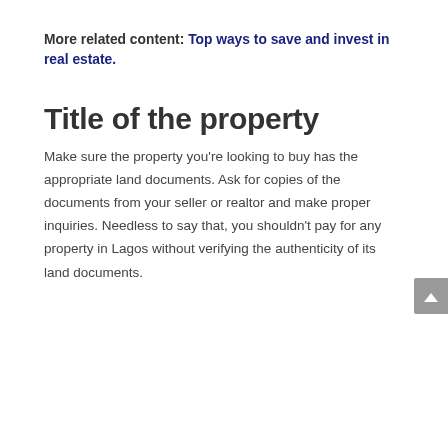More related content: Top ways to save and invest in real estate.
Title of the property
Make sure the property you're looking to buy has the appropriate land documents. Ask for copies of the documents from your seller or realtor and make proper inquiries. Needless to say that, you shouldn't pay for any property in Lagos without verifying the authenticity of its land documents.